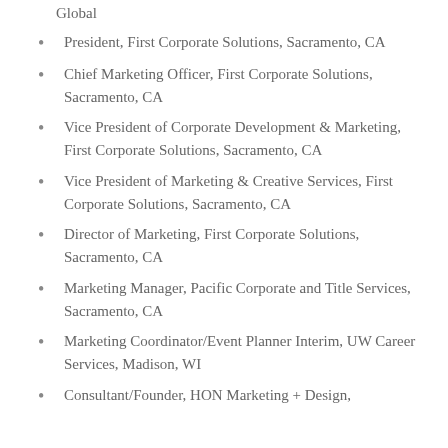Global
President, First Corporate Solutions, Sacramento, CA
Chief Marketing Officer, First Corporate Solutions, Sacramento, CA
Vice President of Corporate Development & Marketing, First Corporate Solutions, Sacramento, CA
Vice President of Marketing & Creative Services, First Corporate Solutions, Sacramento, CA
Director of Marketing, First Corporate Solutions, Sacramento, CA
Marketing Manager, Pacific Corporate and Title Services, Sacramento, CA
Marketing Coordinator/Event Planner Interim, UW Career Services, Madison, WI
Consultant/Founder, HON Marketing + Design, Sacramento, CA